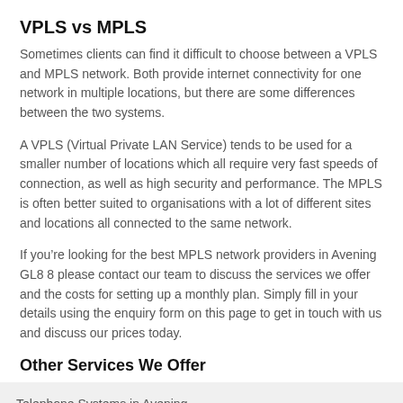VPLS vs MPLS
Sometimes clients can find it difficult to choose between a VPLS and MPLS network. Both provide internet connectivity for one network in multiple locations, but there are some differences between the two systems.
A VPLS (Virtual Private LAN Service) tends to be used for a smaller number of locations which all require very fast speeds of connection, as well as high security and performance. The MPLS is often better suited to organisations with a lot of different sites and locations all connected to the same network.
If you’re looking for the best MPLS network providers in Avening GL8 8 please contact our team to discuss the services we offer and the costs for setting up a monthly plan. Simply fill in your details using the enquiry form on this page to get in touch with us and discuss our prices today.
Other Services We Offer
Telephone Systems in Avening